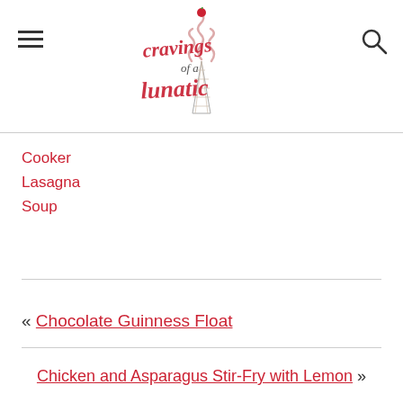[Figure (logo): Cravings of a Lunatic logo with ice cream cone and cursive text]
Cooker
Lasagna
Soup
« Chocolate Guinness Float
Chicken and Asparagus Stir-Fry with Lemon »